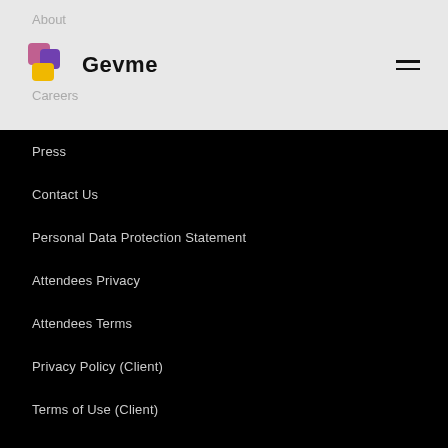About
Gevme
Careers
Press
Contact Us
Personal Data Protection Statement
Attendees Privacy
Attendees Terms
Privacy Policy (Client)
Terms of Use (Client)
Privacy Policy (Visitors)
Cookie Policy
Subscription Agreement